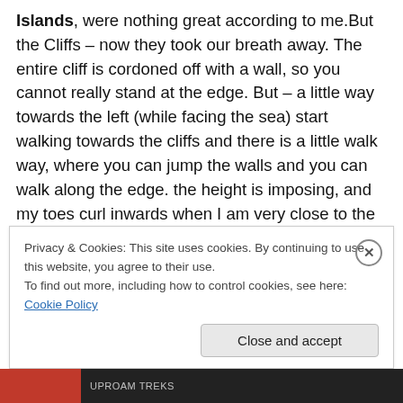Islands, were nothing great according to me.But the Cliffs – now they took our breath away. The entire cliff is cordoned off with a wall, so you cannot really stand at the edge. But – a little way towards the left (while facing the sea) start walking towards the cliffs and there is a little walk way, where you can jump the walls and you can walk along the edge. the height is imposing, and my toes curl inwards when I am very close to the edge of any height, but I got some awesome pics. The walk involved wall jumping and getting down from heights, but we had a great view. Since it was raining we got our shoes all nice
Privacy & Cookies: This site uses cookies. By continuing to use this website, you agree to their use.
To find out more, including how to control cookies, see here: Cookie Policy
Close and accept